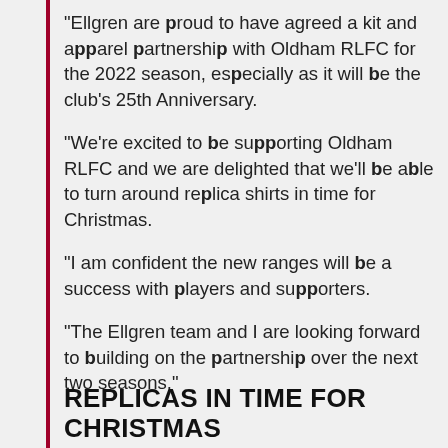“Ellgren are proud to have agreed a kit and apparel partnership with Oldham RLFC for the 2022 season, especially as it will be the club’s 25th Anniversary.
“We’re excited to be supporting Oldham RLFC and we are delighted that we’ll be able to turn around replica shirts in time for Christmas.
“I am confident the new ranges will be a success with players and supporters.
“The Ellgren team and I are looking forward to building on the partnership over the next two seasons.”
REPLICAS IN TIME FOR CHRISTMAS